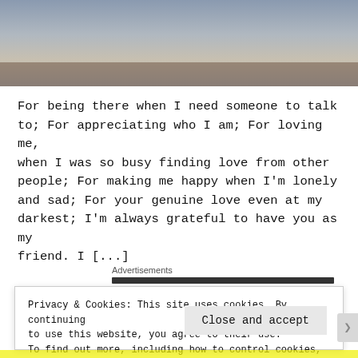[Figure (photo): A photograph showing two people sitting on a bench outdoors on a city street.]
For being there when I need someone to talk to; For appreciating who I am; For loving me, when I was so busy finding love from other people; For making me happy when I'm lonely and sad; For your genuine love even at my darkest; I'm always grateful to have you as my friend. I [...]
Advertisements
Privacy & Cookies: This site uses cookies. By continuing to use this website, you agree to their use. To find out more, including how to control cookies, see here: Cookie Policy
Close and accept